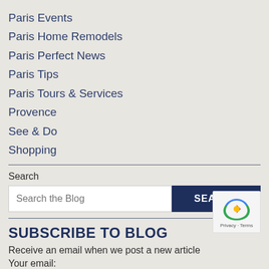Paris Events
Paris Home Remodels
Paris Perfect News
Paris Tips
Paris Tours & Services
Provence
See & Do
Shopping
Search
SUBSCRIBE TO BLOG
Receive an email when we post a new article
Your email: